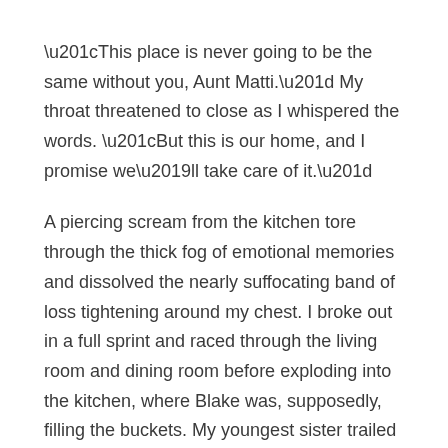“This place is never going to be the same without you, Aunt Matti.” My throat threatened to close as I whispered the words. “But this is our home, and I promise we’ll take care of it.”
A piercing scream from the kitchen tore through the thick fog of emotional memories and dissolved the nearly suffocating band of loss tightening around my chest. I broke out in a full sprint and raced through the living room and dining room before exploding into the kitchen, where Blake was, supposedly, filling the buckets. My youngest sister trailed closely on my heels.
My sneaker-clad foot made a splash with my first step. A stream of water shot from the faucet directly into Blake’s face, the hands she held up doing nothing to